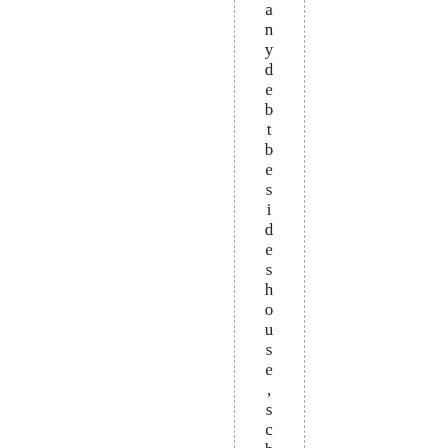any debt besides house, school